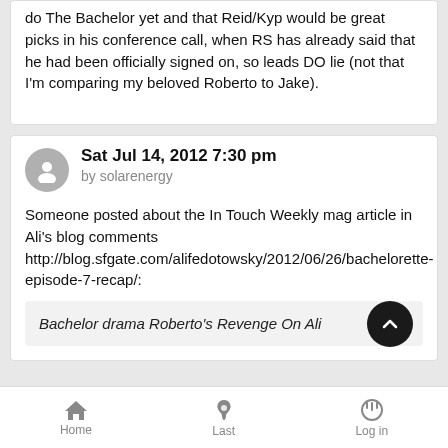do The Bachelor yet and that Reid/Kyp would be great picks in his conference call, when RS has already said that he had been officially signed on, so leads DO lie (not that I'm comparing my beloved Roberto to Jake).
Sat Jul 14, 2012 7:30 pm
by solarenergy
Someone posted about the In Touch Weekly mag article in Ali's blog comments http://blog.sfgate.com/alifedotowsky/2012/06/26/bachelorette-episode-7-recap/:
Bachelor drama Roberto's Revenge On Ali
Home   Last   Log in